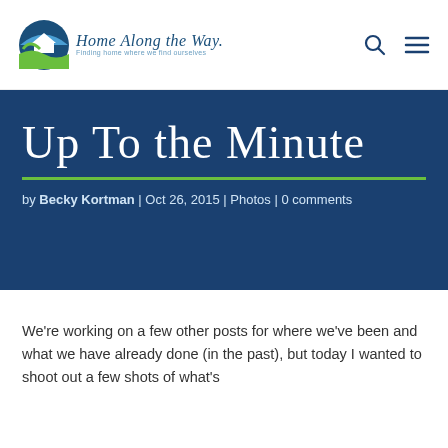Home Along the Way — Finding home where we find ourselves
Up To the Minute
by Becky Kortman | Oct 26, 2015 | Photos | 0 comments
We're working on a few other posts for where we've been and what we have already done (in the past), but today I wanted to shoot out a few shots of what's